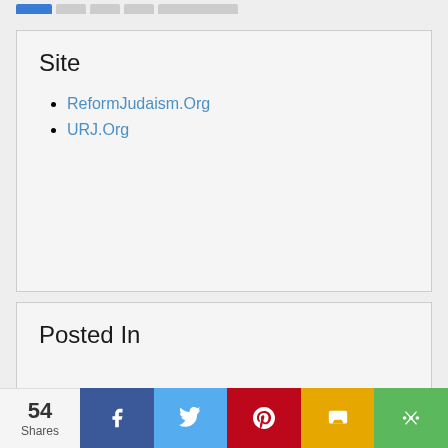Site
ReformJudaism.Org
URJ.Org
Posted In